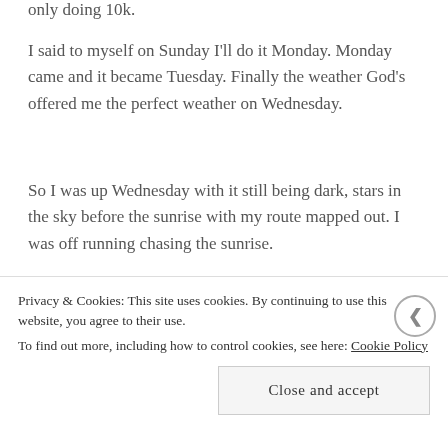only doing 10k.
I said to myself on Sunday I'll do it Monday. Monday came and it became Tuesday. Finally the weather God's offered me the perfect weather on Wednesday.
So I was up Wednesday with it still being dark, stars in the sky before the sunrise with my route mapped out. I was off running chasing the sunrise.
[Figure (photo): Sky photo showing a gradient from white/grey near the horizon to blue-grey at the top, with a thin orange-red strip and dark bar at the very bottom.]
Privacy & Cookies: This site uses cookies. By continuing to use this website, you agree to their use.
To find out more, including how to control cookies, see here: Cookie Policy
Close and accept